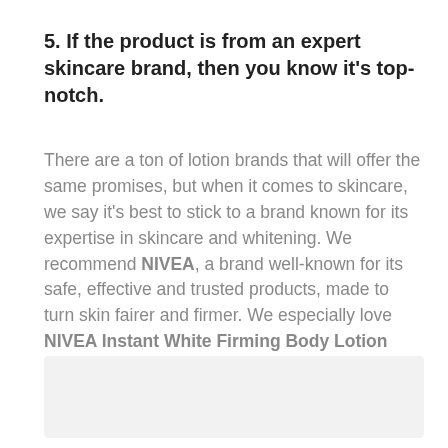5. If the product is from an expert skincare brand, then you know it's top-notch.
There are a ton of lotion brands that will offer the same promises, but when it comes to skincare, we say it's best to stick to a brand known for its expertise in skincare and whitening. We recommend NIVEA, a brand well-known for its safe, effective and trusted products, made to turn skin fairer and firmer. We especially love NIVEA Instant White Firming Body Lotion SPF 15.
[Figure (other): Light gray rectangular placeholder image area at the bottom of the page]